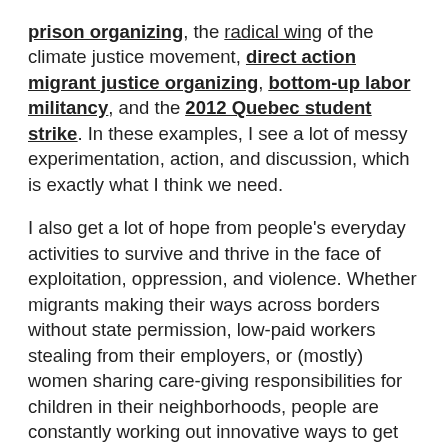prison organizing, the radical wing of the climate justice movement, direct action migrant justice organizing, bottom-up labor militancy, and the 2012 Quebec student strike. In these examples, I see a lot of messy experimentation, action, and discussion, which is exactly what I think we need.

I also get a lot of hope from people's everyday activities to survive and thrive in the face of exploitation, oppression, and violence. Whether migrants making their ways across borders without state permission, low-paid workers stealing from their employers, or (mostly) women sharing care-giving responsibilities for children in their neighborhoods, people are constantly working out innovative ways to get around the systems that rule our lives. I'm convinced that any successful large-scale revolutionary efforts will have to tap into these everyday activities.